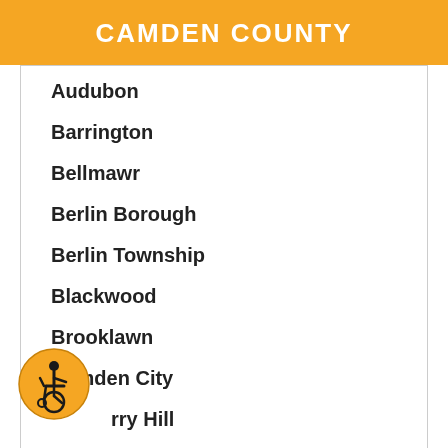CAMDEN COUNTY
Audubon
Barrington
Bellmawr
Berlin Borough
Berlin Township
Blackwood
Brooklawn
Camden City
Cherry Hill
Chesilhurst
[Figure (illustration): Wheelchair accessibility icon — person in wheelchair inside orange circle]